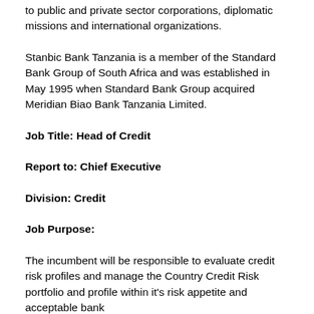to public and private sector corporations, diplomatic missions and international organizations.
Stanbic Bank Tanzania is a member of the Standard Bank Group of South Africa and was established in May 1995 when Standard Bank Group acquired Meridian Biao Bank Tanzania Limited.
Job Title: Head of Credit
Report to: Chief Executive
Division: Credit
Job Purpose:
The incumbent will be responsible to evaluate credit risk profiles and manage the Country Credit Risk portfolio and profile within it's risk appetite and acceptable bank